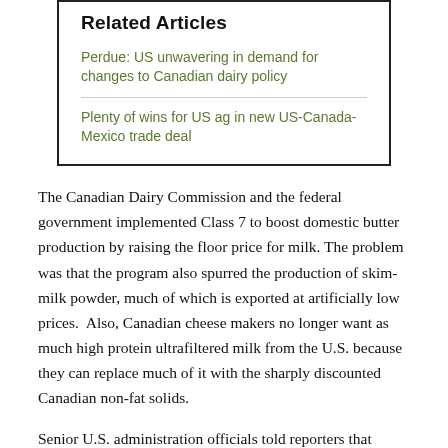Related Articles
Perdue: US unwavering in demand for changes to Canadian dairy policy
Plenty of wins for US ag in new US-Canada-Mexico trade deal
The Canadian Dairy Commission and the federal government implemented Class 7 to boost domestic butter production by raising the floor price for milk. The problem was that the program also spurred the production of skim-milk powder, much of which is exported at artificially low prices.  Also, Canadian cheese makers no longer want as much high protein ultrafiltered milk from the U.S. because they can replace much of it with the sharply discounted Canadian non-fat solids.
Senior U.S. administration officials told reporters that